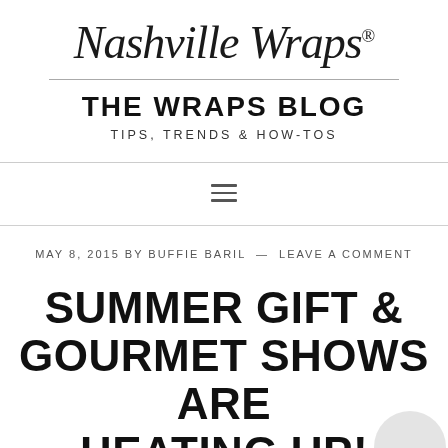Nashville Wraps®
THE WRAPS BLOG
TIPS, TRENDS & HOW-TOS
MAY 8, 2015 BY BUFFIE BARIL — LEAVE A COMMENT
SUMMER GIFT & GOURMET SHOWS ARE HEATING UP!